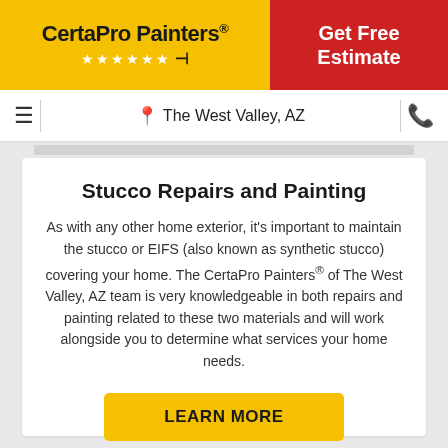[Figure (logo): CertaPro Painters logo with yellow background, stars, and red stripe on the left side of the header]
Get Free Estimate
The West Valley, AZ
Stucco Repairs and Painting
As with any other home exterior, it's important to maintain the stucco or EIFS (also known as synthetic stucco) covering your home. The CertaPro Painters® of The West Valley, AZ team is very knowledgeable in both repairs and painting related to these two materials and will work alongside you to determine what services your home needs.
LEARN MORE